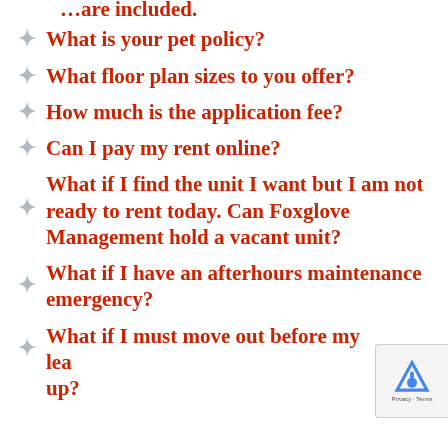What is your pet policy?
What floor plan sizes to you offer?
How much is the application fee?
Can I pay my rent online?
What if I find the unit I want but I am not ready to rent today. Can Foxglove Management hold a vacant unit?
What if I have an afterhours maintenance emergency?
What if I must move out before my lease is up?